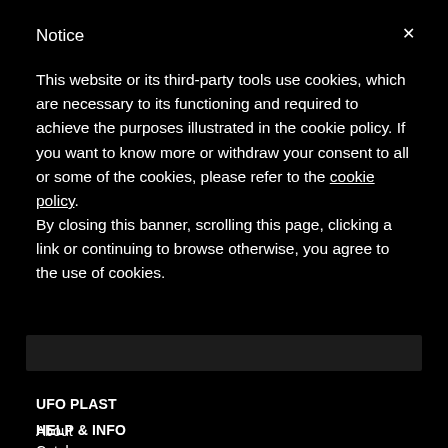Notice
This website or its third-party tools use cookies, which are necessary to its functioning and required to achieve the purposes illustrated in the cookie policy. If you want to know more or withdraw your consent to all or some of the cookies, please refer to the cookie policy.
By closing this banner, scrolling this page, clicking a link or continuing to browse otherwise, you agree to the use of cookies.
UFO PLAST
About
Catalogues
Retailer Login
CE Protector
HELP & INFO